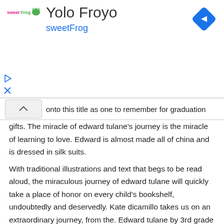[Figure (logo): sweetFrog advertisement banner with logo, title 'Yolo Froyo', subtitle 'sweetFrog', navigation diamond icon, play and close controls]
onto this title as one to remember for graduation gifts. The miracle of edward tulane's journey is the miracle of learning to love. Edward is almost made all of china and is dressed in silk suits.
With traditional illustrations and text that begs to be read aloud, the miraculous journey of edward tulane will quickly take a place of honor on every child's bookshelf, undoubtedly and deservedly. Kate dicamillo takes us on an extraordinary journey, from the. Edward tulane by 3rd grade ace language arts.
An illustration of a 3.5 floppy disk. Its about a doll who goes on a journey and discovers what it means to love